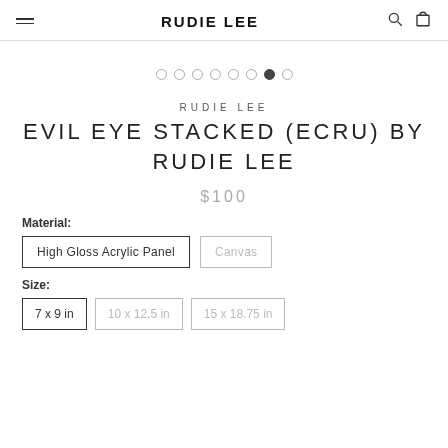RUDIE LEE
RUDIE LEE
EVIL EYE STACKED (ECRU) BY RUDIE LEE
$100
Material:
High Gloss Acrylic Panel | Canvas
Size:
7 x 9 in | 10 x 12.5 in | 15 x 18.75 in